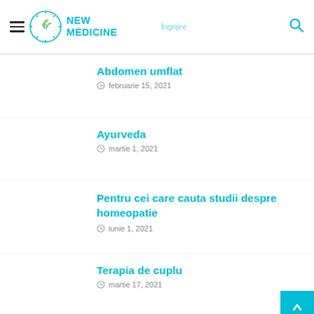NEW MEDICINE
Abdomen umflat — februarie 15, 2021
Ayurveda — martie 1, 2021
Pentru cei care cauta studii despre homeopatie — iunie 1, 2021
Terapia de cuplu — martie 17, 2021